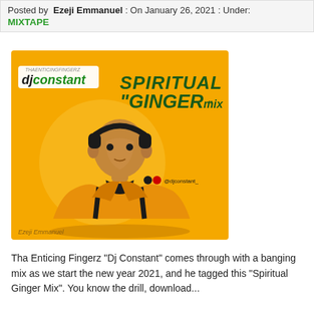Posted by Ezeji Emmanuel : On January 26, 2021 : Under: MIXTAPE
[Figure (illustration): Album cover art for DJ Constant's 'Spiritual Ginger Mix'. Orange background with an illustrated man wearing headphones and an orange jacket. Text reads 'dj constant' and 'Spiritual Ginger Mix' in dark green stylized font. Social media handle '@djconstant_' visible.]
Tha Enticing Fingerz "Dj Constant" comes through with a banging mix as we start the new year 2021, and he tagged this "Spiritual Ginger Mix". You know the drill, download...